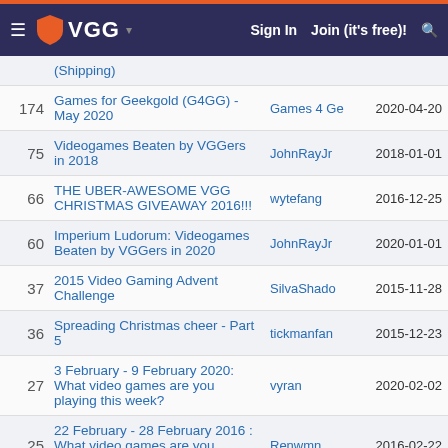VGG — Sign In   Join (it's free)!
| # | Title | User | Date |
| --- | --- | --- | --- |
|  | (Shipping) |  |  |
| 174 | Games for Geekgold (G4GG) - May 2020 | Games 4 Ge | 2020-04-20 |
| 75 | Videogames Beaten by VGGers in 2018 | JohnRayJr | 2018-01-01 |
| 66 | THE UBER-AWESOME VGG CHRISTMAS GIVEAWAY 2016!!! | wytefang | 2016-12-25 |
| 60 | Imperium Ludorum: Videogames Beaten by VGGers in 2020 | JohnRayJr | 2020-01-01 |
| 37 | 2015 Video Gaming Advent Challenge | SilvaShado | 2015-11-28 |
| 36 | Spreading Christmas cheer - Part 5 | tickmanfan | 2015-12-23 |
| 27 | 3 February - 9 February 2020: What video games are you playing this week? | vyran | 2020-02-02 |
| 25 | 22 February - 28 February 2016 : What video games are you playing this week? | Renwmn | 2016-02-22 |
| 18 | 10 November 2014: What video games did you play this past week? | Renwmn | 2014-11-06 |